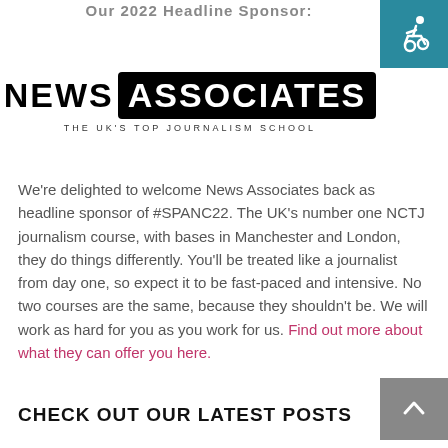Our 2022 Headline Sponsor:
[Figure (logo): News Associates logo — 'NEWS ASSOCIATES' with 'ASSOCIATES' in a black rounded rectangle, tagline: 'THE UK'S TOP JOURNALISM SCHOOL']
We're delighted to welcome News Associates back as headline sponsor of #SPANC22. The UK's number one NCTJ journalism course, with bases in Manchester and London, they do things differently. You'll be treated like a journalist from day one, so expect it to be fast-paced and intensive. No two courses are the same, because they shouldn't be. We will work as hard for you as you work for us. Find out more about what they can offer you here.
CHECK OUT OUR LATEST POSTS